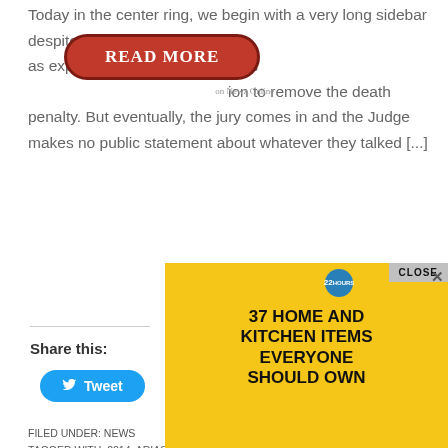Today in the center ring, we begin with a very long sidebar despite the jury n[READ MORE]as expected that Judge Stephens [motion to remove] the death penalty. But eventually, the jury comes in and the Judge makes no public statement about whatever they talked [...]
[Figure (other): Red READ MORE button overlay with 'on Newz Online' watermark]
Share this:
[Figure (other): Blue Tweet button with Twitter bird icon]
FILED UNDER: NEWS
TAGGED WITH: 2014, ARIAS, ARIZONA, BECAUSE, BREAKING NEWS, CHRIS HUGHES, COURT, COURT NEWS, DAN FREEMAN, DESIREE FREEMAN, DETECTIVE FLORES, DR. CHERYL L. KARP, DR. FORSECA, DR. GEFFNER, ESTEBAN FLORES, EXPERT WITNESS, FLORES, ARIAS ..., JUDGE..., JUROR 3, JUROR ..., MARIA...
[Figure (other): Advertisement overlay: yellow background ad '37 HOME AND KITCHEN ITEMS EVERYONE SHOULD OWN' with food images and close button]